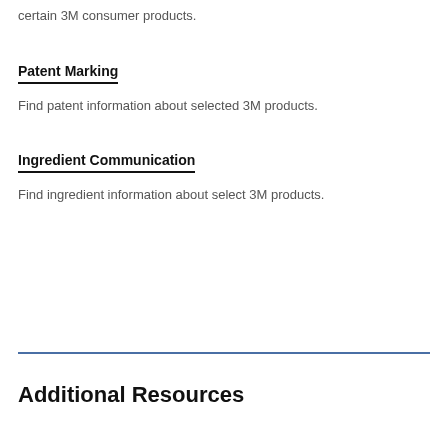certain 3M consumer products.
Patent Marking
Find patent information about selected 3M products.
Ingredient Communication
Find ingredient information about select 3M products.
Additional Resources